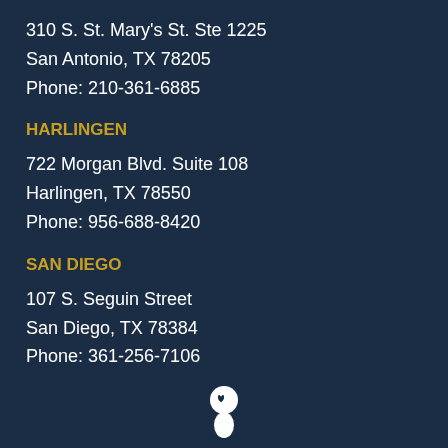310 S. St. Mary's St. Ste 1225
San Antonio, TX 78205
Phone: 210-361-6885
HARLINGEN
722 Morgan Blvd. Suite 108
Harlingen, TX 78550
Phone: 956-688-8420
SAN DIEGO
107 S. Seguin Street
San Diego, TX 78384
Phone: 361-256-7106
[Figure (logo): White silhouette of a head with a heart symbol inside, representing a mental health or legal services logo]